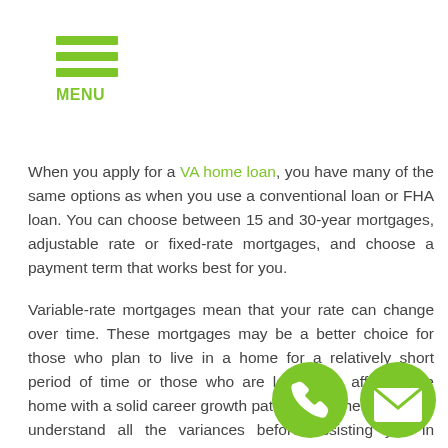MENU
When you apply for a VA home loan, you have many of the same options as when you use a conventional loan or FHA loan. You can choose between 15 and 30-year mortgages, adjustable rate or fixed-rate mortgages, and choose a payment term that works best for you.
Variable-rate mortgages mean that your rate can change over time. These mortgages may be a better choice for those who plan to live in a home for a relatively short period of time or those who are looking to afford more home with a solid career growth path. We will help you fully understand all the variances before assisting you in selecting the right mortgage type.
Our dedicated and experienced Wrightsville VA home mortgage lenders can explain the different types of mortgage options, how they will affect your payment over